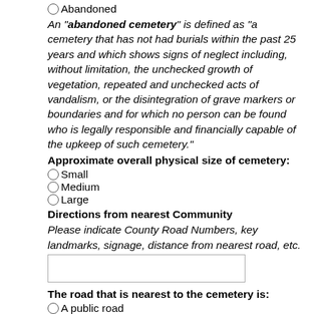Abandoned
An "abandoned cemetery" is defined as "a cemetery that has not had burials within the past 25 years and which shows signs of neglect including, without limitation, the unchecked growth of vegetation, repeated and unchecked acts of vandalism, or the disintegration of grave markers or boundaries and for which no person can be found who is legally responsible and financially capable of the upkeep of such cemetery."
Approximate overall physical size of cemetery:
Small
Medium
Large
Directions from nearest Community
Please indicate County Road Numbers, key landmarks, signage, distance from nearest road, etc.
The road that is nearest to the cemetery is:
A public road
A private road